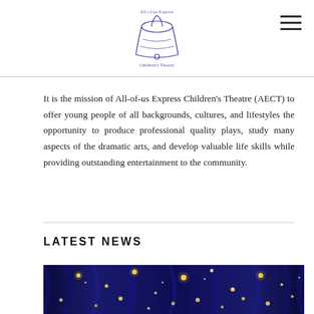All-of-us Express Children's Theatre logo and navigation
It is the mission of All-of-us Express Children's Theatre (AECT) to offer young people of all backgrounds, cultures, and lifestyles the opportunity to produce professional quality plays, study many aspects of the dramatic arts, and develop valuable life skills while providing outstanding entertainment to the community.
LATEST NEWS
[Figure (photo): Blue theater curtain with golden star bokeh lights scattered across it]